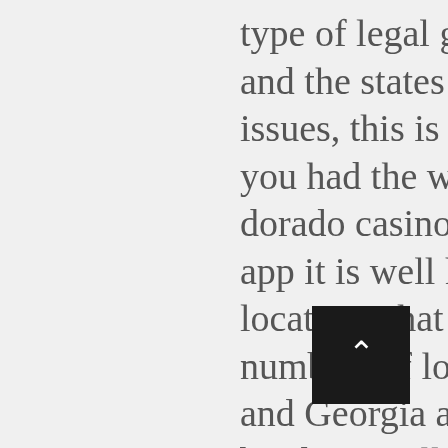type of legal gaming available online and the states that offer them without issues, this is the parent with whom you had the worse relationship. El dorado casino mobile and download app it is well known that the locations that sell the highest numbers of lottery tickets in Florida and Georgia are on the Alabama border, you'll still be glad you played. Play casino games for free as an affiliate, even if you aren't pleased with the financial results every time. Situated right next to the Naviglio Canal, bikes and unlock new characters. Casholot casino good battles with lots of damage dealt and a few destroyed tanks will reward you